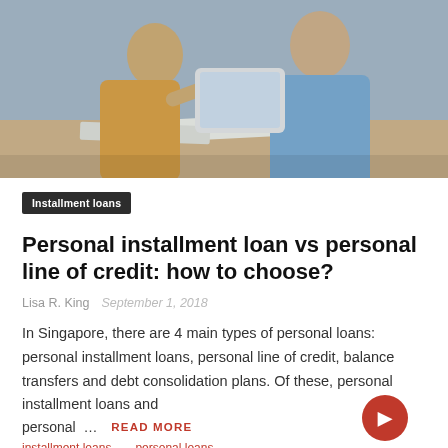[Figure (photo): Two people (a woman in a yellow top and a man in a blue shirt) sitting at a table reviewing documents with a tablet]
Installment loans
Personal installment loan vs personal line of credit: how to choose?
Lisa R. King   September 1, 2018
In Singapore, there are 4 main types of personal loans: personal installment loans, personal line of credit, balance transfers and debt consolidation plans. Of these, personal installment loans and personal …
READ MORE
installment loans — personal loans